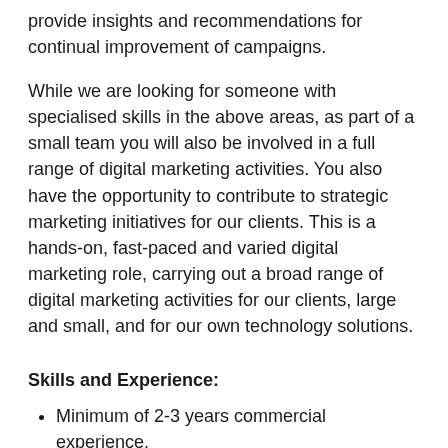provide insights and recommendations for continual improvement of campaigns.
While we are looking for someone with specialised skills in the above areas, as part of a small team you will also be involved in a full range of digital marketing activities. You also have the opportunity to contribute to strategic marketing initiatives for our clients. This is a hands-on, fast-paced and varied digital marketing role, carrying out a broad range of digital marketing activities for our clients, large and small, and for our own technology solutions.
Skills and Experience:
Minimum of 2-3 years commercial experience.
Proven experience managing PPC and SEM campaigns with a focus on optimisation of ad